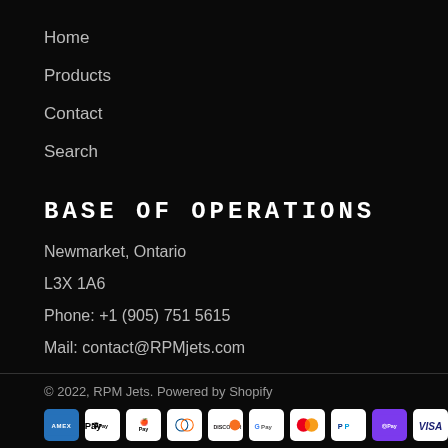Home
Products
Contact
Search
BASE OF OPERATIONS
Newmarket, Ontario
L3X 1A6
Phone: +1 (905) 751 5615
Mail: contact@RPMjets.com
© 2022, RPM Jets. Powered by Shopify
[Figure (other): Payment method icons: Amex, Apple Pay, Diners, Discover, Google Pay, Mastercard, PayPal, Shop Pay, Visa]